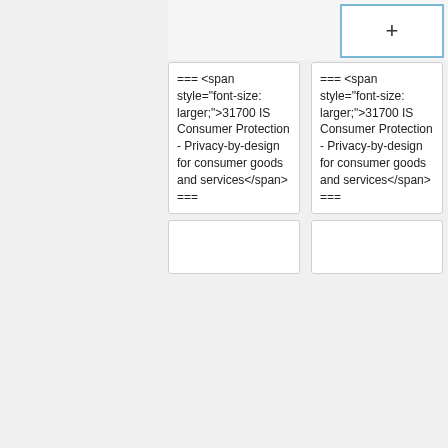[Figure (screenshot): Wiki diff view showing two columns with wiki markup text for a section heading about '31700 IS Consumer Protection - Privacy-by-design for consumer goods and services', and a + button in the top right corner of the right panel.]
=== <span style="font-size: larger;">31700 IS Consumer Protection - Privacy-by-design for consumer goods and services</span> ===
=== <span style="font-size: larger;">31700 IS Consumer Protection - Privacy-by-design for consumer goods and services</span> ===
Revision as of 06:57, 27 October 2021
[Figure (logo): Red background with white arc/logo shape, partially visible at the bottom of the page.]